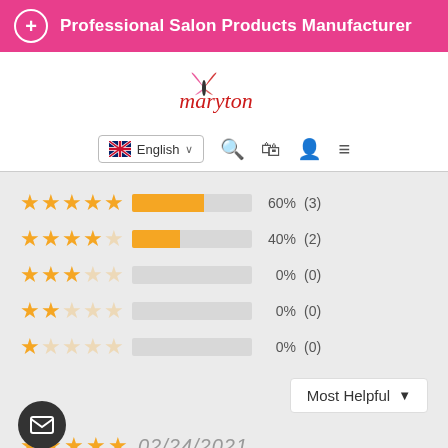Professional Salon Products Manufacturer
[Figure (logo): Maryton logo with butterfly and italic red text]
[Figure (screenshot): Navigation bar with English language selector, search, cart, account and menu icons]
[Figure (bar-chart): Star rating distribution]
Most Helpful
[Figure (screenshot): Mail/contact floating button]
02/24/2021